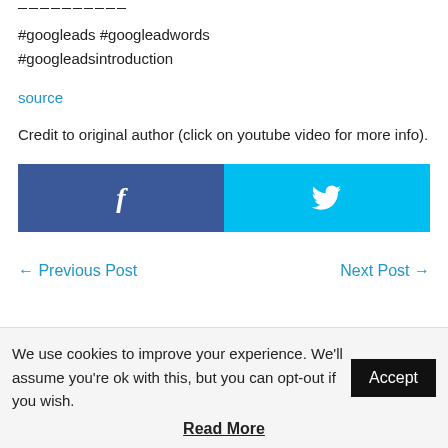——————————
#googleads #googleadwords
#googleadsintroduction
source
Credit to original author (click on youtube video for more info).
[Figure (infographic): Facebook and Twitter share buttons side by side. Facebook button is dark blue with 'f' icon. Twitter button is cyan/light blue with bird icon.]
← Previous Post
Next Post →
We use cookies to improve your experience. We'll assume you're ok with this, but you can opt-out if you wish.
Accept
Read More